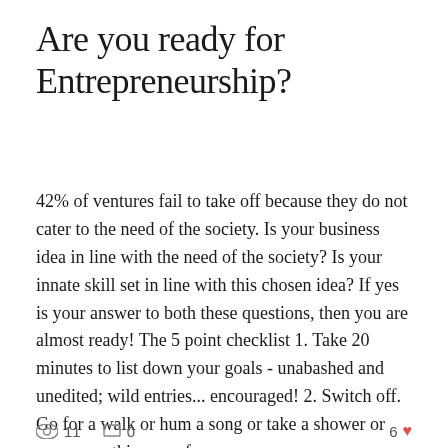Are you ready for Entrepreneurship?
42% of ventures fail to take off because they do not cater to the need of the society. Is your business idea in line with the need of the society? Is your innate skill set in line with this chosen idea? If yes is your answer to both these questions, then you are almost ready! The 5 point checklist 1. Take 20 minutes to list down your goals - unabashed and unedited; wild entries... encouraged! 2. Switch off. Go for a walk or hum a song or take a shower or nap or anything you f
👁 11   □ 0   6 ♥